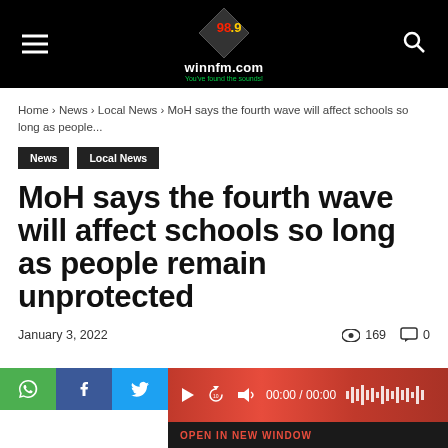winnfm.com — 98.9 — You've found the sounds!
Home › News › Local News › MoH says the fourth wave will affect schools so long as people...
News
Local News
MoH says the fourth wave will affect schools so long as people remain unprotected
January 3, 2022  169  0